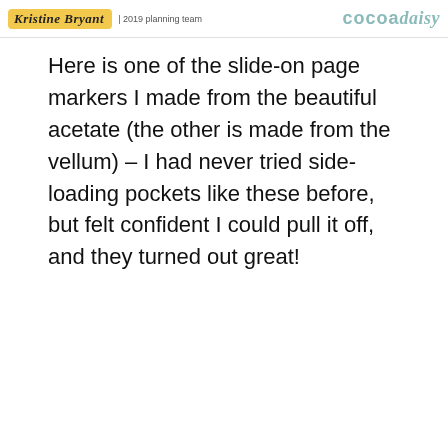Kristine Bryant | 2019 planning team   cocoaDAISY
Here is one of the slide-on page markers I made from the beautiful acetate (the other is made from the vellum) – I had never tried side-loading pockets like these before, but felt confident I could pull it off, and they turned out great!